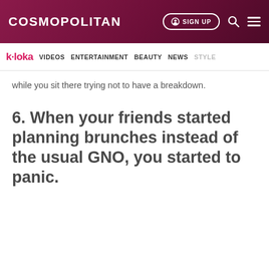COSMOPOLITAN | SIGN UP
k-loka VIDEOS ENTERTAINMENT BEAUTY NEWS STYLE
while you sit there trying not to have a breakdown.
6. When your friends started planning brunches instead of the usual GNO, you started to panic.